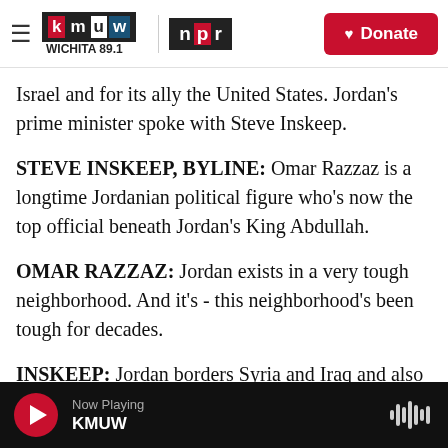KMUW Wichita 89.1 | NPR | Donate
Israel and for its ally the United States. Jordan's prime minister spoke with Steve Inskeep.
STEVE INSKEEP, BYLINE: Omar Razzaz is a longtime Jordanian political figure who's now the top official beneath Jordan's King Abdullah.
OMAR RAZZAZ: Jordan exists in a very tough neighborhood. And it's - this neighborhood's been tough for decades.
INSKEEP: Jordan borders Syria and Iraq and also Israel. If you look at a map, you'll see that Jordan touches the occupied West Bank, which is called
Now Playing KMUW